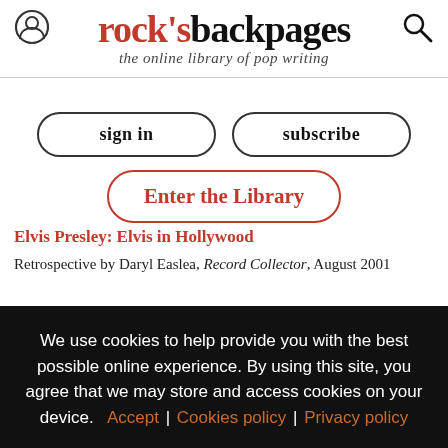rock's backpages — the online library of pop writing
sign in
subscribe
Enter the Library
Elvis Presley: Elvis in Hollywood
Retrospective by Daryl Easlea, Record Collector, August 2001
“I’ve had intellectuals tell me that I’ve got to progress as an
We use cookies to help provide you with the best possible online experience. By using this site, you agree that we may store and access cookies on your device. Accept | Cookies policy | Privacy policy